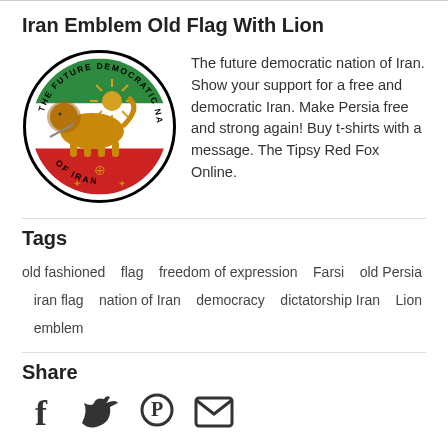Iran Emblem Old Flag With Lion
[Figure (logo): Circular emblem of The Future Democratic Nation of Iran, featuring a lion with a sun, Iranian tricolor flag (green, white, red), and Faravahar symbol, with text around the border reading 'THE FUTURE DEMOCRATIC NATION OF IRAN']
The future democratic nation of Iran. Show your support for a free and democratic Iran. Make Persia free and strong again! Buy t-shirts with a message. The Tipsy Red Fox Online.
Tags
old fashioned   flag   freedom of expression   Farsi   old Persia   iran flag   nation of Iran   democracy   dictatorship Iran   Lion   emblem
Share